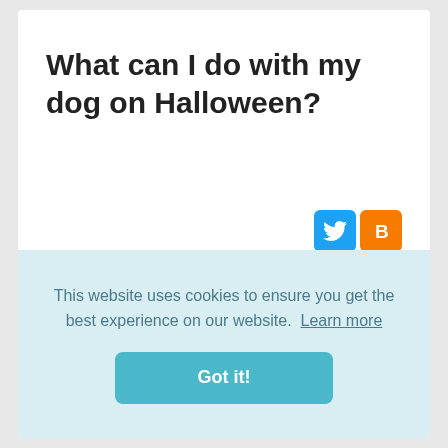What can I do with my dog on Halloween?
[Figure (illustration): Twitter and Blogger social share icons — Twitter bird icon on blue background, Blogger 'B' icon on orange background]
Skip the stress and keep your pets safe this year by following these 10 easy tips. Trick-or-treat candies are not for pets. Don't leave pets out in the yard on Halloween. Keep pets confined to one room from the door. Keep...
This website uses cookies to ensure you get the best experience on our website.  Learn more
Got it!